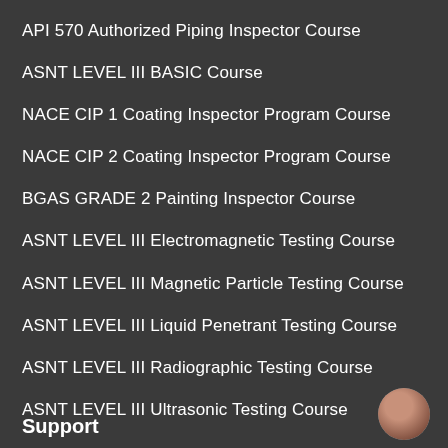API 570 Authorized Piping Inspector Course
ASNT LEVEL III BASIC Course
NACE CIP 1 Coating Inspector Program Course
NACE CIP 2 Coating Inspector Program Course
BGAS GRADE 2 Painting Inspector Course
ASNT LEVEL III Electromagnetic Testing Course
ASNT LEVEL III Magnetic Particle Testing Course
ASNT LEVEL III Liquid Penetrant Testing Course
ASNT LEVEL III Radiographic Testing Course
ASNT LEVEL III Ultrasonic Testing Course
Support